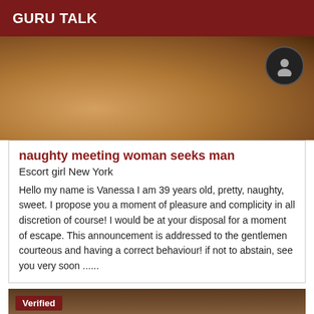GURU TALK
[Figure (photo): Close-up photo of a person, cropped torso view with dark clothing]
naughty meeting woman seeks man
Escort girl New York
Hello my name is Vanessa I am 39 years old, pretty, naughty, sweet. I propose you a moment of pleasure and complicity in all discretion of course! I would be at your disposal for a moment of escape. This announcement is addressed to the gentlemen courteous and having a correct behaviour! if not to abstain, see you very soon ......
[Figure (photo): Photo of a woman with long dark hair, partially visible, with a Verified badge overlay]